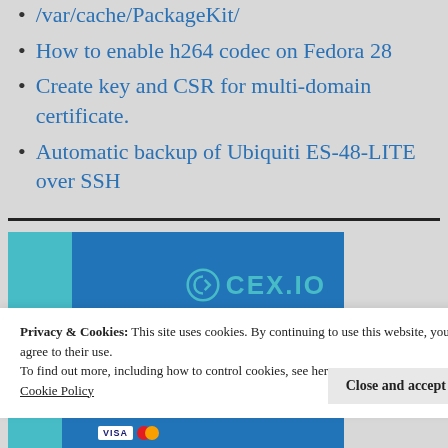/var/cache/PackageKit/
How to enable h264 codec on Fedora 28
Create key and CSR for multi-domain certificate.
Automatic backup of Ubiquiti ES-48-LITE over SSH
[Figure (screenshot): CEX.IO banner advertisement with teal and blue background]
Privacy & Cookies: This site uses cookies. By continuing to use this website, you agree to their use.
To find out more, including how to control cookies, see here: Cookie Policy
[Figure (screenshot): Bottom banner showing VISA and Mastercard logos on blue background]